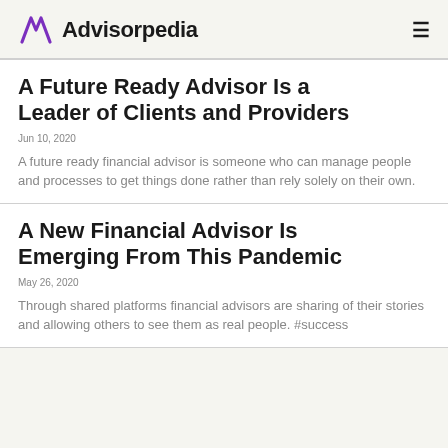Advisorpedia
A Future Ready Advisor Is a Leader of Clients and Providers
Jun 10, 2020
A future ready financial advisor is someone who can manage people and processes to get things done rather than rely solely on their own.
A New Financial Advisor Is Emerging From This Pandemic
May 26, 2020
Through shared platforms financial advisors are sharing of their stories and allowing others to see them as real people. #success